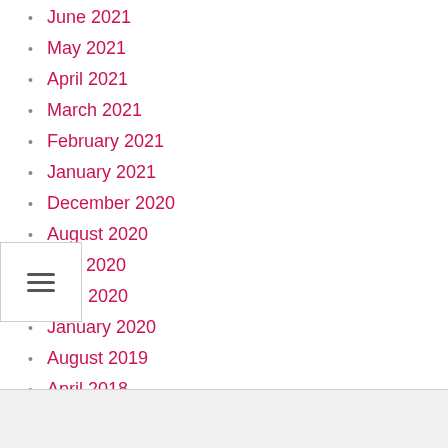June 2021
May 2021
April 2021
March 2021
February 2021
January 2021
December 2020
August 2020
May 2020
April 2020
January 2020
August 2019
April 2018